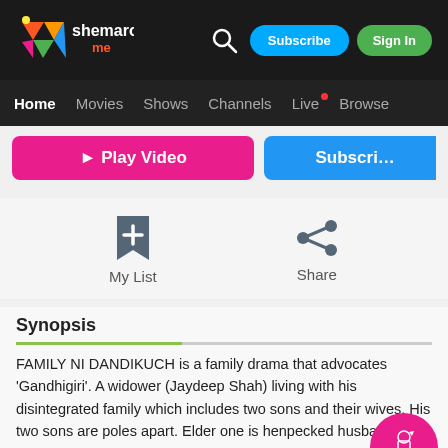[Figure (logo): Shemaroo Me logo - colorful play button with text shemaroo.me]
Subscribe | Sign In
Home   Movies   Shows   Channels   Live   Browse
▶ Play Video
Subscribe
My List
Share
Synopsis
FAMILY NI DANDIKUCH is a family drama that advocates 'Gandhigiri'. A widower (Jaydeep Shah) living with his disintegrated family which includes two sons and their wives. His two sons are poles apart. Elder one is henpecked husband and younger one is